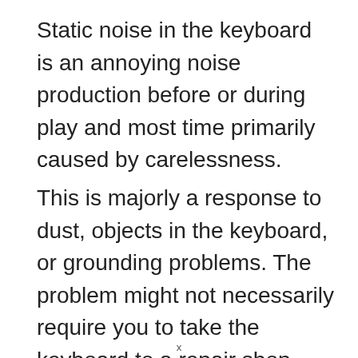Static noise in the keyboard is an annoying noise production before or during play and most time primarily caused by carelessness.
This is majorly a response to dust, objects in the keyboard, or grounding problems. The problem might not necessarily require you to take the keyboard to a repair shop.
x